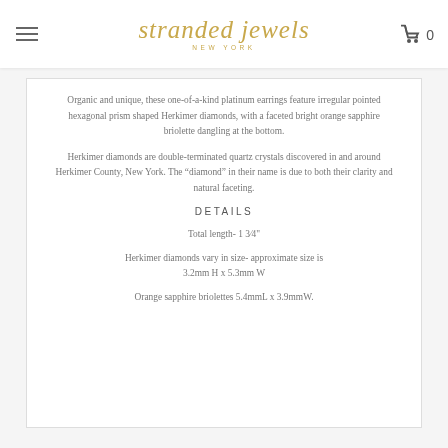stranded jewels NEW YORK  0
Organic and unique, these one-of-a-kind platinum earrings feature irregular pointed hexagonal prism shaped Herkimer diamonds, with a faceted bright orange sapphire briolette dangling at the bottom.
Herkimer diamonds are double-terminated quartz crystals discovered in and around Herkimer County, New York. The "diamond" in their name is due to both their clarity and natural faceting.
DETAILS
Total length- 1 3⁄4"
Herkimer diamonds vary in size- approximate size is 3.2mm H x 5.3mm W
Orange sapphire briolettes 5.4mmL x 3.9mmW.